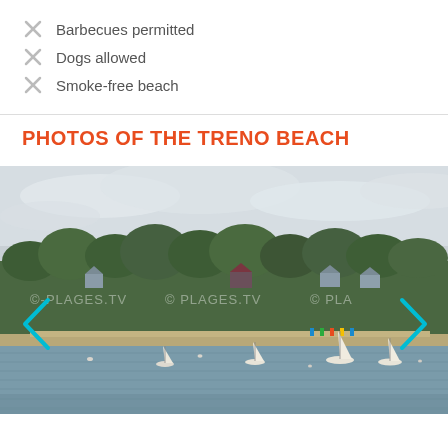Barbecues permitted
Dogs allowed
Smoke-free beach
PHOTOS OF THE TRENO BEACH
[Figure (photo): Coastal beach scene with sailboats on calm water in the foreground, a sandy beach with colorful umbrellas/chairs, dense green trees and houses in the background, under an overcast sky. Watermark: ©-PLAGES.TV repeated. Navigation arrows on left and right sides.]